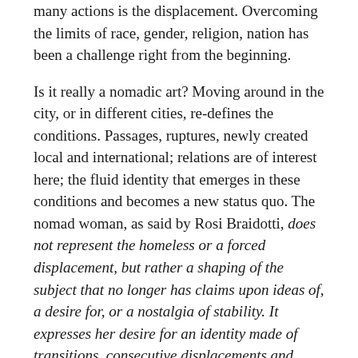many actions is the displacement. Overcoming the limits of race, gender, religion, nation has been a challenge right from the beginning.
Is it really a nomadic art? Moving around in the city, or in different cities, re-defines the conditions. Passages, ruptures, newly created local and international; relations are of interest here; the fluid identity that emerges in these conditions and becomes a new status quo. The nomad woman, as said by Rosi Braidotti, does not represent the homeless or a forced displacement, but rather a shaping of the subject that no longer has claims upon ideas of, a desire for, or a nostalgia of stability. It expresses her desire for an identity made of transitions, consecutive displacements and coordinated changes lacking in unity. However, the nomadic subject does not completely lack unity: it functions on set, seasonal movement patterns on rather fixed routes (Braidotti 2014, 110).
The work of art, through this path, has gone beyond the